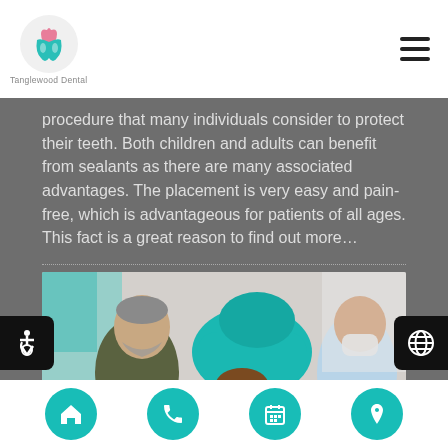Tanglewood Dental — navigation header with logo and hamburger menu
procedure that many individuals consider to protect their teeth. Both children and adults can benefit from sealants as there are many associated advantages. The placement is very easy and pain-free, which is advantageous for patients of all ages. This fact is a great reason to find out more…
[Figure (photo): A child lying in a teal dental chair, mouth open, with a male adult (father/guardian) seated nearby in an olive jacket, and a masked dental professional on the right attending to the child in a bright clinical setting.]
Bottom navigation bar with four teal circular icon buttons: home, phone, calendar, location